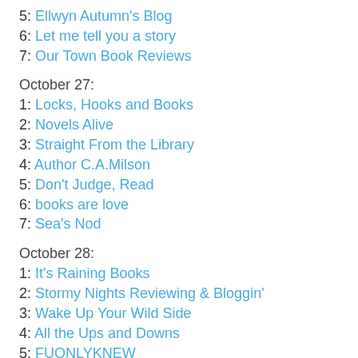5: Ellwyn Autumn's Blog
6: Let me tell you a story
7: Our Town Book Reviews
October 27:
1: Locks, Hooks and Books
2: Novels Alive
3: Straight From the Library
4: Author C.A.Milson
5: Don't Judge, Read
6: books are love
7: Sea's Nod
October 28:
1: It's Raining Books
2: Stormy Nights Reviewing & Bloggin'
3: Wake Up Your Wild Side
4: All the Ups and Downs
5: FUONLYKNEW
6: Literary Gold
7: Lamon Reviews